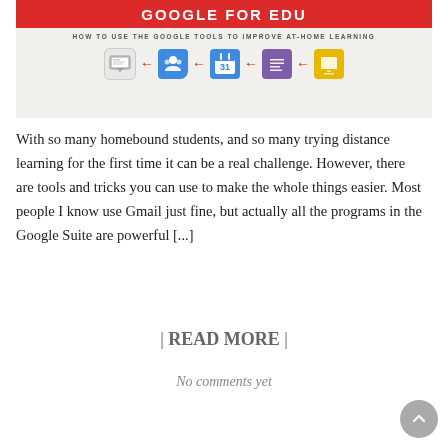[Figure (infographic): Infographic titled 'GOOGLE FOR EDU' with subtitle 'HOW TO USE THE GOOGLE TOOLS TO IMPROVE AT-HOME LEARNING'. Shows icons for Google Classroom, Google Calendar, Google Docs, and Google Slides connected by red left-pointing arrows, leading to a computer screen icon.]
With so many homebound students, and so many trying distance learning for the first time it can be a real challenge. However, there are tools and tricks you can use to make the whole things easier. Most people I know use Gmail just fine, but actually all the programs in the Google Suite are powerful [...]
| READ MORE |
No comments yet